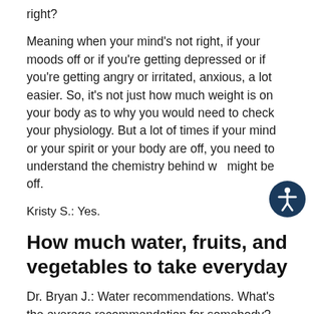right?
Meaning when your mind’s not right, if your moods off or if you’re getting depressed or if you’re getting angry or irritated, anxious, a lot easier. So, it’s not just how much weight is on your body as to why you would need to check your physiology. But a lot of times if your mind or your spirit or your body are off, you need to understand the chemistry behind wh might be off.
Kristy S.: Yes.
How much water, fruits, and vegetables to take everyday
Dr. Bryan J.: Water recommendations. What’s the average recommendation for somebody? How much water should somebody drink in your opinion?